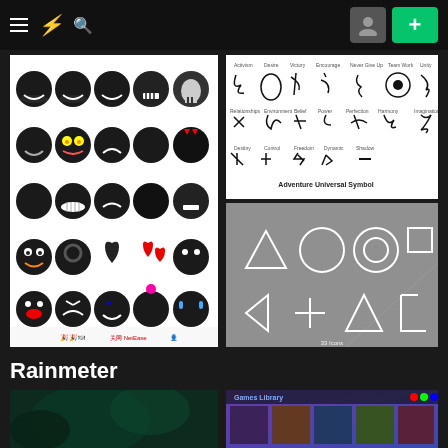DeviantArt navigation bar with hamburger menu, lightning bolt logo, search icon, avatar button, and plus button
[Figure (illustration): Grid of black bomb-like emoji/emoticon characters with various expressions on white background]
[Figure (illustration): Adventure Universal Symbol chart with calligraphic symbols on white background]
[Figure (illustration): Square Enix / game-style geometric shapes (triangle, circle, target, square, arrow, star, mountain, bracket) on grey background with '33 Icons' label]
Rainmeter
[Figure (photo): Dark teal/green abstract background thumbnail]
[Figure (screenshot): Games Library Rainmeter skin with colorful game cover thumbnails]